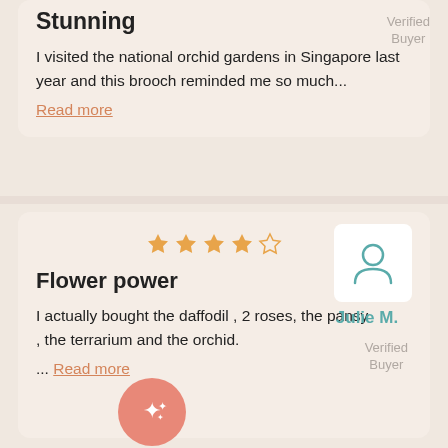Stunning
I visited the national orchid gardens in Singapore last year and this brooch reminded me so much...
Read more
Verified Buyer
[Figure (other): 4-star rating with stars (4 filled, 1 outline)]
[Figure (other): User avatar icon in white box]
Julie M.
Verified Buyer
Flower power
I actually bought the daffodil , 2 roses, the pansy , the terrarium and the orchid.
... Read more
[Figure (other): Sparkle/stars FAB button in salmon pink circle]